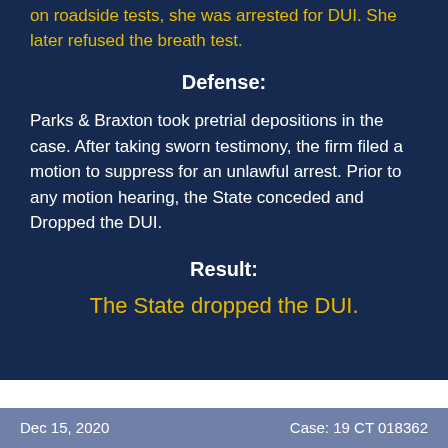on roadside tests, she was arrested for DUI. She later refused the breath test.
Defense:
Parks & Braxton took pretrial depositions in the case. After taking sworn testimony, the firm filed a motion to suppress for an unlawful arrest. Prior to any motion hearing, the State conceded and Dropped the DUI.
Result:
The State dropped the DUI.
Dec 15, 2020    Case: 19 CT 018362